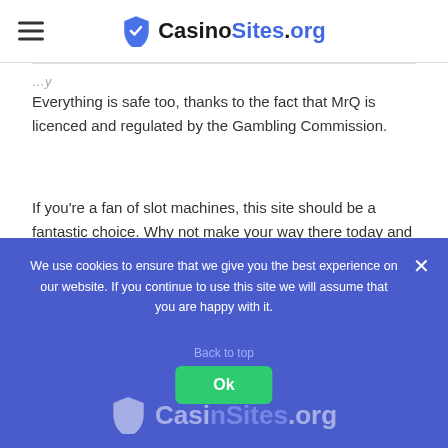CasinoSites.org
Everything is safe too, thanks to the fact that MrQ is licenced and regulated by the Gambling Commission.
If you're a fan of slot machines, this site should be a fantastic choice. Why not make your way there today and sign up? You can then make your first deposit and receive 10 free spins, which have no wagering requirements attached!
[Figure (other): Red rounded rectangle button with text VISIT SITE in white uppercase letters]
We use cookies to ensure that we give you the best experience on our website. If you continue to use this site we will assume that you are happy with it.
[Figure (other): Green Ok button in cookie consent banner]
CasinoSites.org footer logo watermark